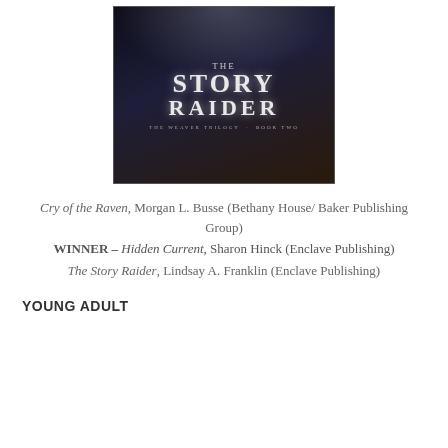[Figure (photo): Book cover of 'The Story Raider' from The Weaver Trilogy, dark background with smoke and stylized title text in white/silver lettering.]
Cry of the Raven, Morgan L. Busse (Bethany House/ Baker Publishing Group)
WINNER – Hidden Current, Sharon Hinck (Enclave Publishing)
The Story Raider, Lindsay A. Franklin (Enclave Publishing)
YOUNG ADULT